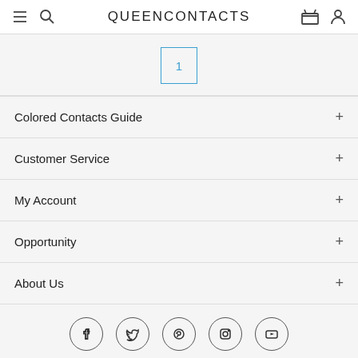QUEENCONTACTS
1
Colored Contacts Guide
Customer Service
My Account
Opportunity
About Us
[Figure (other): Social media icons: Facebook, Twitter, Pinterest, Instagram, YouTube]
Company Name: N.E.M CO., LTD / 104-81-51625 / CEO: LEE JIN WOO
Address: REGENT 211, GANGBYEON STATION RO 4GIL 68, KWANG JIN GU, SEOUL, KOREA